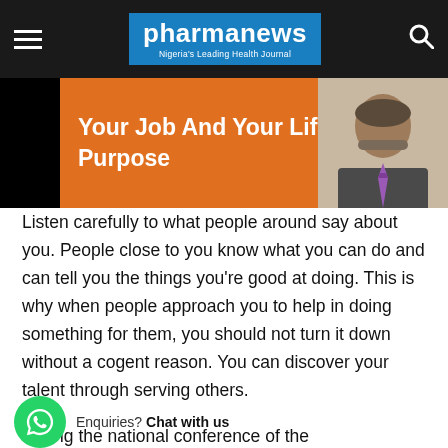pharmanews - Nigeria's Leading Health Journal
[Figure (photo): Hero image with orange background showing text 'Your Job And Your Life Purpose' in white bold font, with a photo of a man in a suit on the right side]
Listen carefully to what people around say about you. People close to you know what you can do and can tell you the things you're good at doing. This is why when people approach you to help in doing something for them, you should not turn it down without a cogent reason. You can discover your talent through serving others.
During the national conference of the Pharmaceutical Society of Nigeria (PSN) in Kano, Prince Julius Adelusi-Adeluyi pr... l as the editor-in -chief of the Society's journal. I accepted the nomination with reluctance and fear. However, for more than four decades